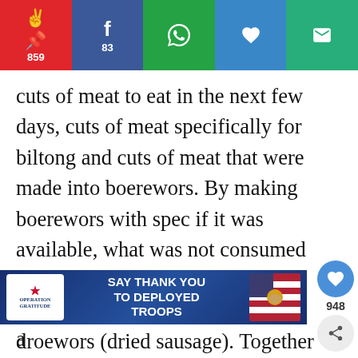[Figure (infographic): Social share bar with Pinterest (859), Facebook (83), WhatsApp, heart/save (948), and email buttons]
cuts of meat to eat in the next few days, cuts of meat specifically for biltong and cuts of meat that were made into boerewors. By making boerewors with spec if it was available, what was not consumed within a day or two could be hung and air dried like biltong to make droewors (dried sausage). Together with the biltong, this also ensured that those on the Gr Trek had ample protein for the very arduous journey they embarked on. Nowadays, purveyors of boerewors will use pork fat,
[Figure (infographic): Floating side widget with heart icon showing 948 saves and share icon]
[Figure (screenshot): Ad banner: Operation Gratitude - SAY THANK YOU TO DEPLOYED TROOPS]
a